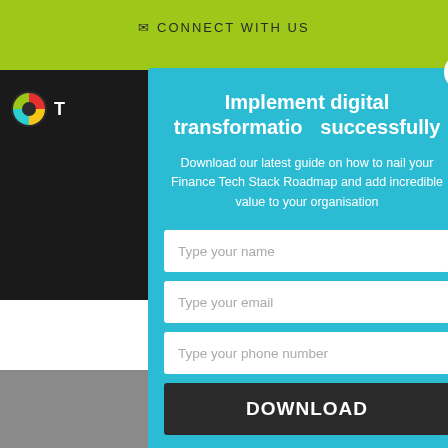[Figure (screenshot): Website screenshot showing a green header bar with 'CONNECT WITH US' text, a dark sidebar with a logo, and a light blue modal popup dialog.]
Implement digital transformation successfully
Download our latest guide on how to nail your Finance Tech Stack Roadmap and add incredible value to your organisation
Type your name
Type your email
Type your phone number
DOWNLOAD